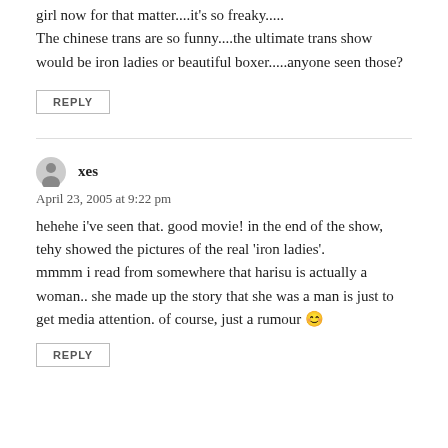girl now for that matter....it's so freaky.....
The chinese trans are so funny....the ultimate trans show would be iron ladies or beautiful boxer.....anyone seen those?
REPLY
xes
April 23, 2005 at 9:22 pm
hehehe i've seen that. good movie! in the end of the show, tehy showed the pictures of the real 'iron ladies'.
mmmm i read from somewhere that harisu is actually a woman.. she made up the story that she was a man is just to get media attention. of course, just a rumour 😊
REPLY